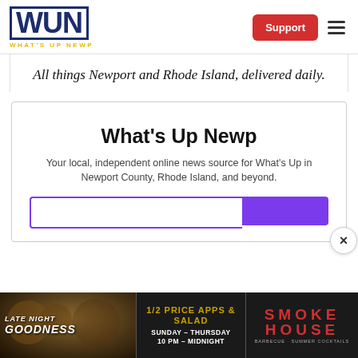[Figure (logo): WUN What's Up Newp logo — bold navy WUN with yellow subtitle 'WHAT'S UP NEWP']
[Figure (screenshot): Support button (red) and hamburger menu icon in top-right nav]
All things Newport and Rhode Island, delivered daily.
What's Up Newp
Your local, independent online news source for What's Up in Newport County, Rhode Island, and beyond.
[Figure (screenshot): Email subscription input field with purple submit button]
[Figure (screenshot): Close (×) button for modal]
[Figure (photo): Late Night Goodness ad banner — food photo on left, '1/2 PRICE APPS & SALAD SUNDAY - THURSDAY 10 PM - MIDNIGHT', Smoke House BBQ logo on right]